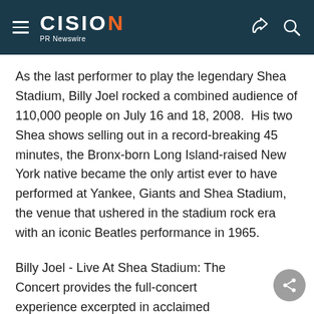CISION PR Newswire
As the last performer to play the legendary Shea Stadium, Billy Joel rocked a combined audience of 110,000 people on July 16 and 18, 2008.  His two Shea shows selling out in a record-breaking 45 minutes, the Bronx-born Long Island-raised New York native became the only artist ever to have performed at Yankee, Giants and Shea Stadium, the venue that ushered in the stadium rock era with an iconic Beatles performance in 1965.
Billy Joel - Live At Shea Stadium: The Concert provides the full-concert experience excerpted in acclaimed documentary "The Last Play At Shea,"